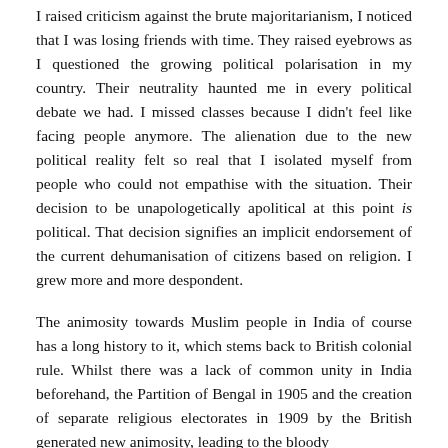I raised criticism against the brute majoritarianism, I noticed that I was losing friends with time. They raised eyebrows as I questioned the growing political polarisation in my country. Their neutrality haunted me in every political debate we had. I missed classes because I didn't feel like facing people anymore. The alienation due to the new political reality felt so real that I isolated myself from people who could not empathise with the situation. Their decision to be unapologetically apolitical at this point is political. That decision signifies an implicit endorsement of the current dehumanisation of citizens based on religion. I grew more and more despondent.
The animosity towards Muslim people in India of course has a long history to it, which stems back to British colonial rule. Whilst there was a lack of common unity in India beforehand, the Partition of Bengal in 1905 and the creation of separate religious electorates in 1909 by the British generated new animosity, leading to the bloody